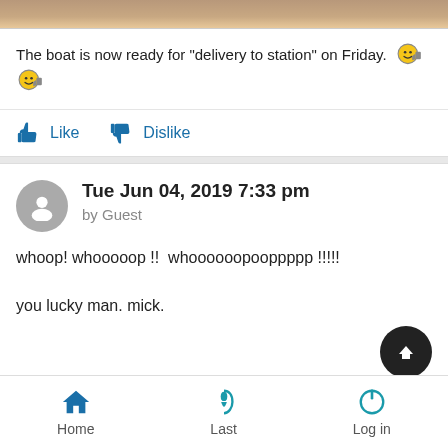[Figure (photo): Partial photo strip at top of post]
The boat is now ready for "delivery to station" on Friday. 😊👍 😊👍
👍 Like   👎 Dislike
Tue Jun 04, 2019 7:33 pm
by Guest
whoop! whooooop !!  whoooooopooppppp !!!!!

you lucky man. mick.
Home   Last   Log in